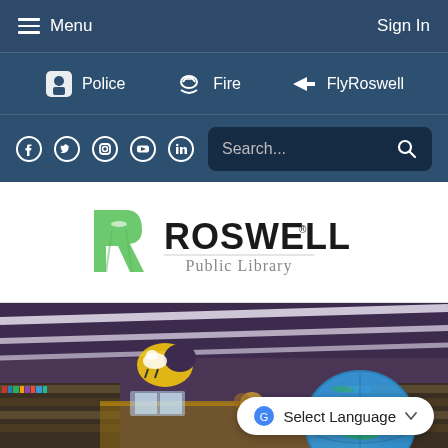Menu | Sign In
Police | Fire | FlyRoswell
Facebook Twitter Instagram YouTube LinkedIn | Search...
[Figure (logo): Roswell Public Library logo — green stylized R with flying saucer beam, bold ROSWELL® wordmark, subtitle Public Library]
[Figure (photo): Interior of Roswell Public Library children's section showing bookshelves, decorative ceiling with cartoon character cutouts (cow jumping over moon, witch), a globe in the foreground, and library tables]